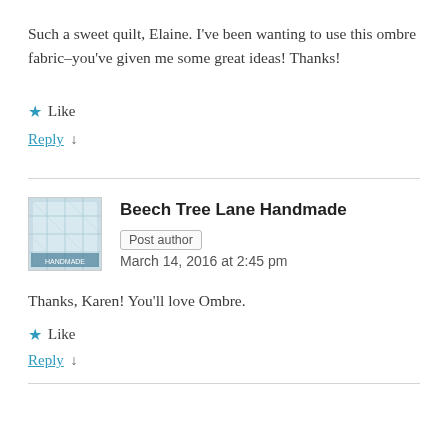Such a sweet quilt, Elaine. I've been wanting to use this ombre fabric–you've given me some great ideas! Thanks!
★ Like
Reply ↓
Beech Tree Lane Handmade  Post author
March 14, 2016 at 2:45 pm
Thanks, Karen! You'll love Ombre.
★ Like
Reply ↓